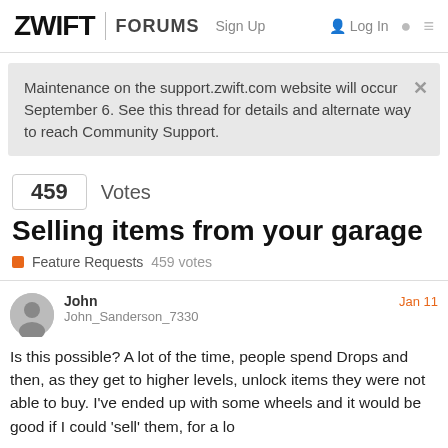ZWIFT | FORUMS  Sign Up  Log In
Maintenance on the support.zwift.com website will occur September 6. See this thread for details and alternate way to reach Community Support.
459 Votes
Selling items from your garage
Feature Requests  459 votes
John
John_Sanderson_7330
Jan 11
Is this possible? A lot of the time, people spend Drops and then, as they get to higher levels, unlock items they were not able to buy. I've ended up with some wheels and it would be good if I could 'sell' them, for a lo
Back
1 / 49